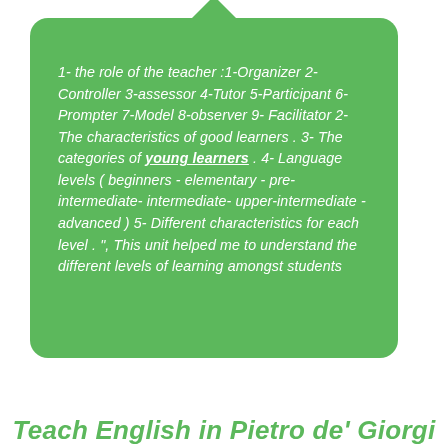1- the role of the teacher :1-Organizer 2-Controller 3-assessor 4-Tutor 5-Participant 6-Prompter 7-Model 8-observer 9- Facilitator 2- The characteristics of good learners . 3- The categories of young learners . 4- Language levels ( beginners - elementary - pre- intermediate- intermediate- upper-intermediate - advanced ) 5- Different characteristics for each level . ", This unit helped me to understand the different levels of learning amongst students
Teach English in Pietro de' Giorgi